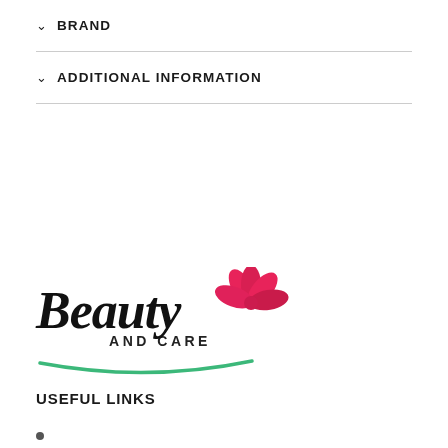BRAND
ADDITIONAL INFORMATION
[Figure (logo): Beauty and Care logo with pink flower graphic and green arc underline]
USEFUL LINKS